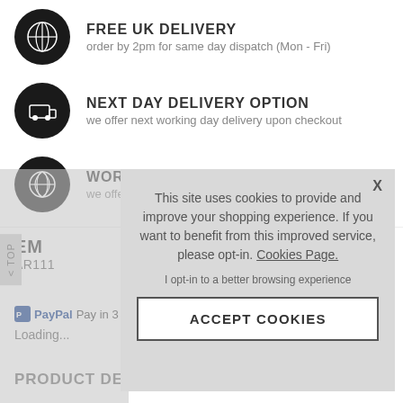FREE UK DELIVERY
order by 2pm for same day dispatch (Mon - Fri)
NEXT DAY DELIVERY OPTION
we offer next working day delivery upon checkout
WORLDWIDE DELIVERY
we offer worldwide delivery
EM
AR111
PayPal Pay in 3i...
Loading...
PRODUCT DETAILS
[Figure (screenshot): Cookie consent popup overlay with message: This site uses cookies to provide and improve your shopping experience. If you want to benefit from this improved service, please opt-in. Cookies Page. I opt-in to a better browsing experience. ACCEPT COOKIES button.]